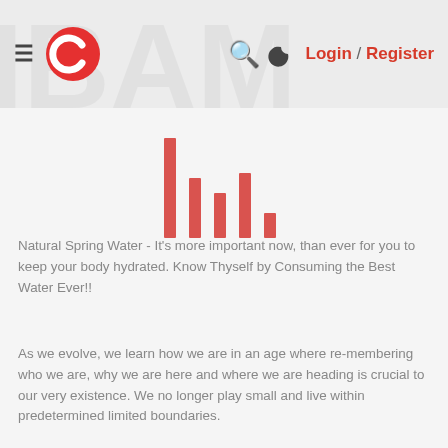≡ [logo] 🔍 ☾ Login / Register
[Figure (bar-chart): Decorative red vertical bar chart with 5 bars of varying heights centered on the page]
Natural Spring Water - It's more important now, than ever for you to keep your body hydrated. Know Thyself by Consuming the Best Water Ever!!
As we evolve, we learn how we are in an age where re-membering who we are, why we are here and where we are heading is crucial to our very existence. We no longer play small and live within predetermined limited boundaries.
The ice which kept us frozen in trance has melted as evident by the day as so many are returning to source. During this process, we rediscover the beauty and majesty of our being and re-learn what